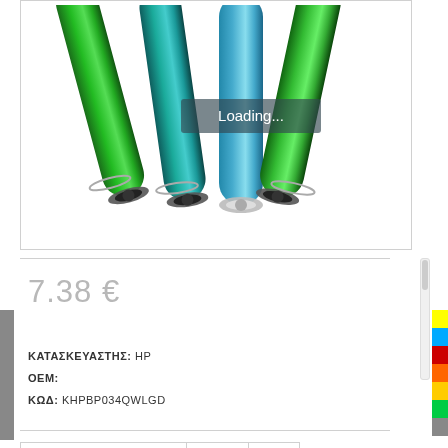[Figure (photo): Four green and teal colored printer drum/OPC drum cartridges standing upright, viewed from above at an angle, with a 'Loading...' overlay text in the center of the image.]
7.38 €
ΚΑΤΑΣΚΕΥΑΣΤΗΣ: HP
OEM:
ΚΩΔ: KHPBP034QWLGD
| ΠΟΣΟΤΗΤΑ | 1 |  |
| --- | --- | --- |